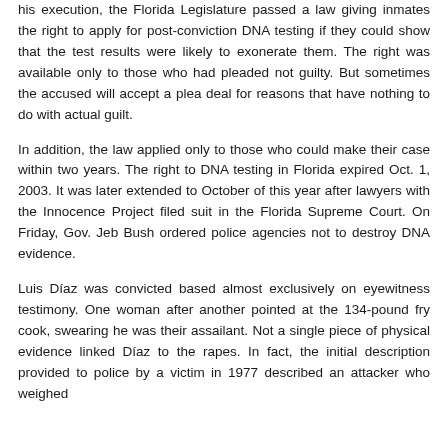his execution, the Florida Legislature passed a law giving inmates the right to apply for post-conviction DNA testing if they could show that the test results were likely to exonerate them. The right was available only to those who had pleaded not guilty. But sometimes the accused will accept a plea deal for reasons that have nothing to do with actual guilt.
In addition, the law applied only to those who could make their case within two years. The right to DNA testing in Florida expired Oct. 1, 2003. It was later extended to October of this year after lawyers with the Innocence Project filed suit in the Florida Supreme Court. On Friday, Gov. Jeb Bush ordered police agencies not to destroy DNA evidence.
Luis Díaz was convicted based almost exclusively on eyewitness testimony. One woman after another pointed at the 134-pound fry cook, swearing he was their assailant. Not a single piece of physical evidence linked Díaz to the rapes. In fact, the initial description provided to police by a victim in 1977 described an attacker who weighed